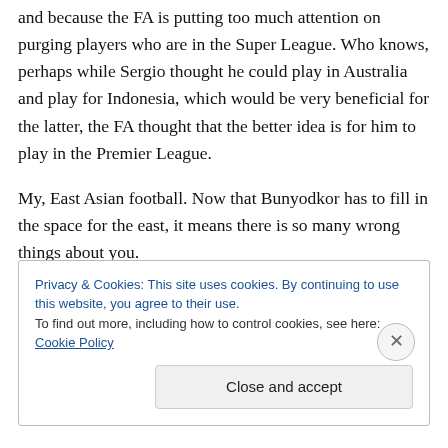and because the FA is putting too much attention on purging players who are in the Super League. Who knows, perhaps while Sergio thought he could play in Australia and play for Indonesia, which would be very beneficial for the latter, the FA thought that the better idea is for him to play in the Premier League.

My, East Asian football. Now that Bunyodkor has to fill in the space for the east, it means there is so many wrong things about you.
Privacy & Cookies: This site uses cookies. By continuing to use this website, you agree to their use.
To find out more, including how to control cookies, see here: Cookie Policy